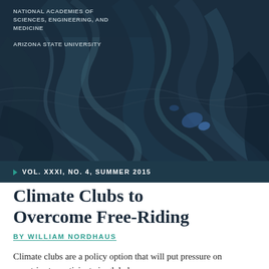[Figure (photo): Dark swirling abstract painting in deep blue and grey tones, used as a decorative background image for the journal cover]
NATIONAL ACADEMIES OF SCIENCES, ENGINEERING, AND MEDICINE

ARIZONA STATE UNIVERSITY
VOL. XXXI, NO. 4, SUMMER 2015
Climate Clubs to Overcome Free-Riding
BY WILLIAM NORDHAUS
Climate clubs are a policy option that will put pressure on countries to participate in global climate efforts.